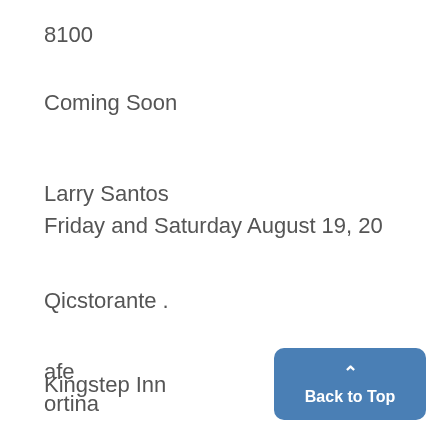8100
Coming Soon
Larry Santos
Friday and Saturday August 19, 20
Qicstorante .
afe
ortina
Kingstep Inn
Back to Top